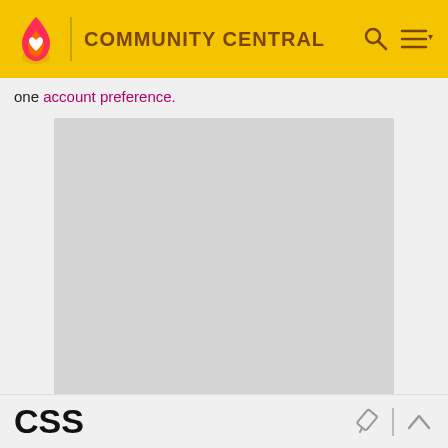COMMUNITY CENTRAL
one account preference.
[Figure (other): Advertisement placeholder — large grey rectangle with ADVERTISEMENT label below]
ADVERTISEMENT
CSS